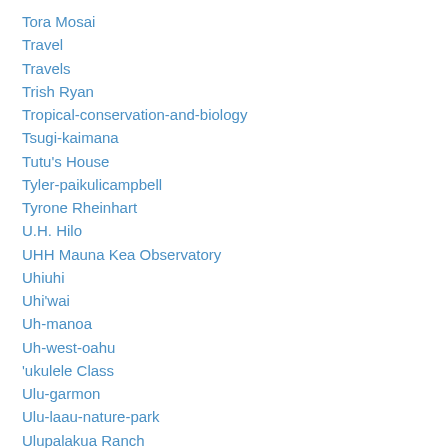Tora Mosai
Travel
Travels
Trish Ryan
Tropical-conservation-and-biology
Tsugi-kaimana
Tutu's House
Tyler-paikulicampbell
Tyrone Rheinhart
U.H. Hilo
UHH Mauna Kea Observatory
Uhiuhi
Uhi'wai
Uh-manoa
Uh-west-oahu
'ukulele Class
Ulu-garmon
Ulu-laau-nature-park
Ulupalakua Ranch
Umekichi Tanaka